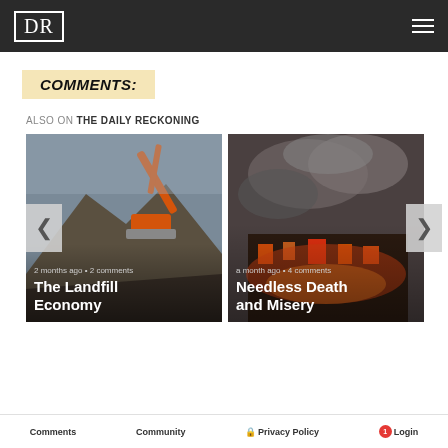DR
COMMENTS:
ALSO ON THE DAILY RECKONING
[Figure (photo): Excavator working at a landfill or demolition site with piles of rubble, overcast sky]
2 months ago • 2 comments
The Landfill Economy
[Figure (photo): Building on fire with thick smoke rising, fire and destruction scene]
a month ago • 4 comments
Needless Death and Misery
Comments   Community   Privacy Policy   Login